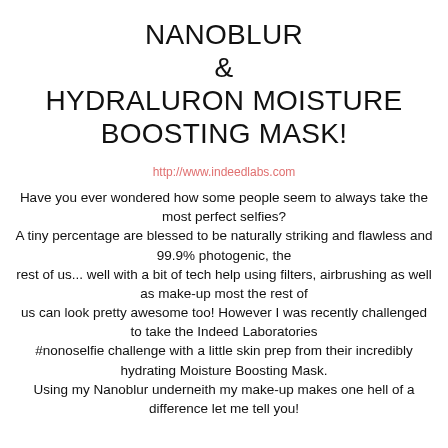NANOBLUR & HYDRALURON MOISTURE BOOSTING MASK!
http://www.indeedlabs.com
Have you ever wondered how some people seem to always take the most perfect selfies? A tiny percentage are blessed to be naturally striking and flawless and 99.9% photogenic, the rest of us... well with a bit of tech help using filters, airbrushing as well as make-up most the rest of us can look pretty awesome too! However I was recently challenged to take the Indeed Laboratories #nonoselfie challenge with a little skin prep from their incredibly hydrating Moisture Boosting Mask. Using my Nanoblur underneith my make-up makes one hell of a difference let me tell you!